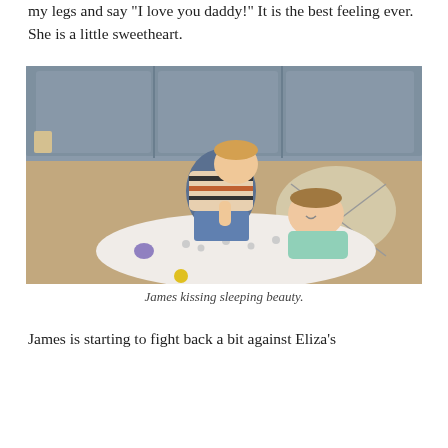my legs and say "I love you daddy!" It is the best feeling ever. She is a little sweetheart.
[Figure (photo): A baby in a striped outfit kneeling and leaning down to kiss a sleeping toddler girl lying on a patterned blanket on a carpeted floor, with a gray couch in the background.]
James kissing sleeping beauty.
James is starting to fight back a bit against Eliza's